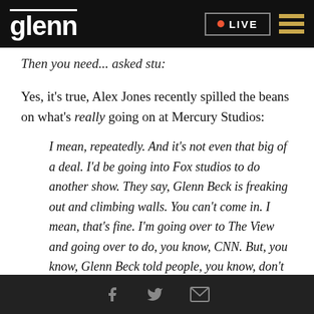glenn | LIVE
Then you need... asked stu:
Yes, it's true, Alex Jones recently spilled the beans on what's really going on at Mercury Studios:
I mean, repeatedly. And it's not even that big of a deal. I'd be going into Fox studios to do another show. They say, Glenn Beck is freaking out and climbing walls. You can't come in. I mean, that's fine. I'm going over to The View and going over to do, you know, CNN. But, you know, Glenn Beck told people, you know, don't want you in here. They're throwing fits. And, you know, they've got
Social share icons: Facebook, Twitter, Email